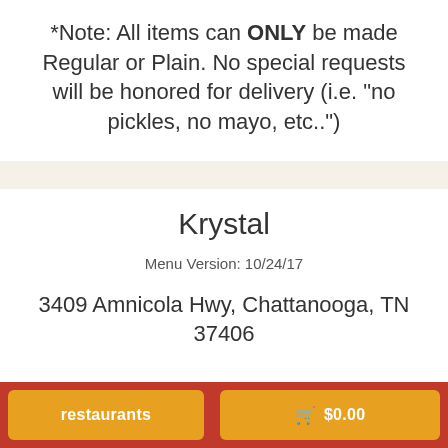*Note: All items can ONLY be made Regular or Plain. No special requests will be honored for delivery (i.e. "no pickles, no mayo, etc..")
Krystal
Menu Version: 10/24/17
3409 Amnicola Hwy, Chattanooga, TN 37406
restaurants   🛒 $0.00